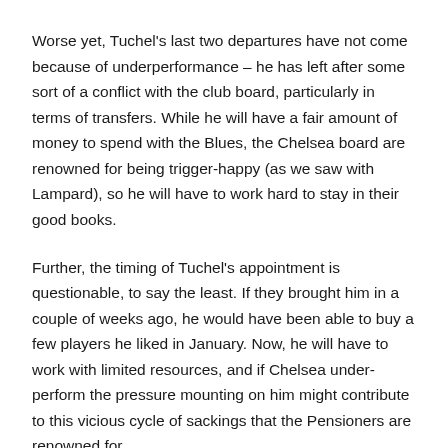Worse yet, Tuchel's last two departures have not come because of underperformance – he has left after some sort of a conflict with the club board, particularly in terms of transfers. While he will have a fair amount of money to spend with the Blues, the Chelsea board are renowned for being trigger-happy (as we saw with Lampard), so he will have to work hard to stay in their good books.
Further, the timing of Tuchel's appointment is questionable, to say the least. If they brought him in a couple of weeks ago, he would have been able to buy a few players he liked in January. Now, he will have to work with limited resources, and if Chelsea under-perform the pressure mounting on him might contribute to this vicious cycle of sackings that the Pensioners are renowned for.
There is no questioning that Tuchel is a great manager, but all...